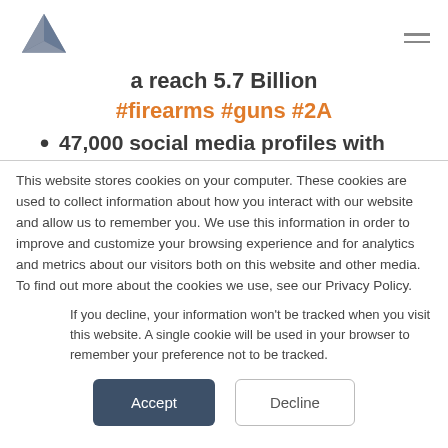Navigation header with logo and hamburger menu
a reach 5.7 Billion
#firearms #guns #2A
47,000 social media profiles with
This website stores cookies on your computer. These cookies are used to collect information about how you interact with our website and allow us to remember you. We use this information in order to improve and customize your browsing experience and for analytics and metrics about our visitors both on this website and other media. To find out more about the cookies we use, see our Privacy Policy.
If you decline, your information won't be tracked when you visit this website. A single cookie will be used in your browser to remember your preference not to be tracked.
Accept | Decline